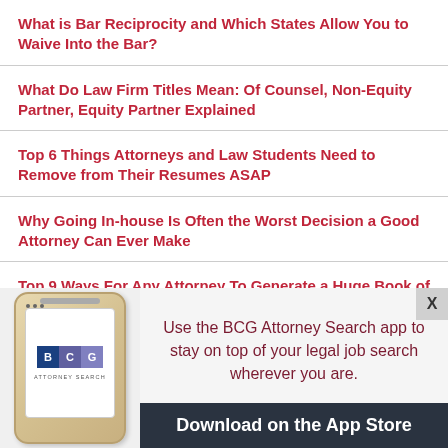What is Bar Reciprocity and Which States Allow You to Waive Into the Bar?
What Do Law Firm Titles Mean: Of Counsel, Non-Equity Partner, Equity Partner Explained
Top 6 Things Attorneys and Law Students Need to Remove from Their Resumes ASAP
Why Going In-house Is Often the Worst Decision a Good Attorney Can Ever Make
Top 9 Ways For Any Attorney To Generate a Huge Book of Business
[Figure (screenshot): BCG Attorney Search mobile app advertisement banner with phone illustration, BCG logo, and App Store download button]